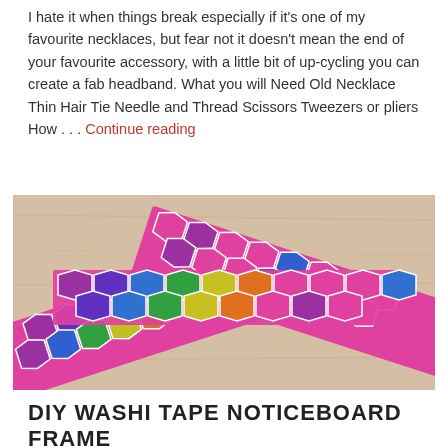I hate it when things break especially if it's one of my favourite necklaces, but fear not it doesn't mean the end of your favourite accessory, with a little bit of up-cycling you can create a fab headband. What you will Need Old Necklace Thin Hair Tie Needle and Thread Scissors Tweezers or pliers How . . . Continue reading
[Figure (photo): Photo of colorful hexagon-patterned washi tape strips arranged in a bow/cross shape on a light wooden surface. The tape has a rainbow pattern of hexagons including purple, blue, green, yellow, orange, and pink/magenta colors with white outlines.]
DIY WASHI TAPE NOTICEBOARD FRAME